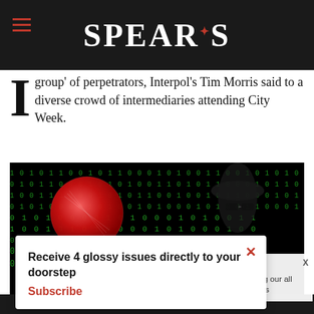SPEAR'S
group of perpetrators, Interpol's Tim Morris said to a diverse crowd of intermediaries attending City Week.
[Figure (illustration): Cybersecurity themed image with binary code (0s and 1s) in green on black background, a red glowing circle on the left, and a shadowy figure wearing a hat and sunglasses on the right.]
Receive 4 glossy issues directly to your doorstep Subscribe
continue using our all cookies on this
Continue  Learn more